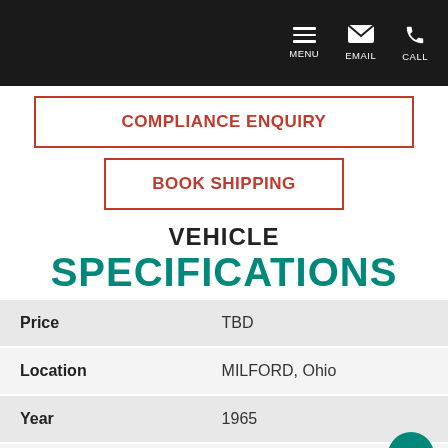MENU  EMAIL  CALL
COMPLIANCE ENQUIRY
BOOK SHIPPING
VEHICLE SPECIFICATIONS
| Price | TBD |
| Location | MILFORD, Ohio |
| Year | 1965 |
| Make | Ford |